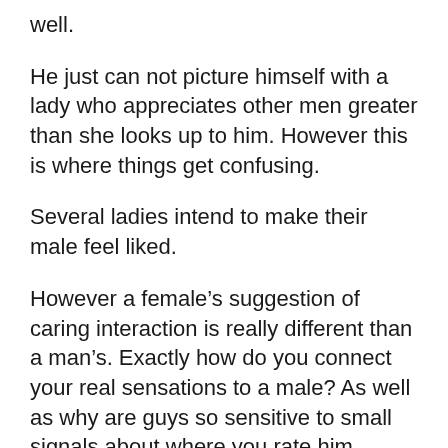well.
He just can not picture himself with a lady who appreciates other men greater than she looks up to him. However this is where things get confusing.
Several ladies intend to make their male feel liked.
However a female’s suggestion of caring interaction is really different than a man’s. Exactly how do you connect your real sensations to a male? As well as why are guys so sensitive to small signals about where you rate him compared to other men?
To discuss little, be aware in that emotional…